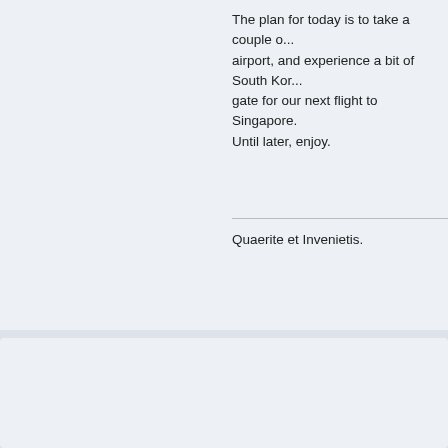The plan for today is to take a couple o... airport, and experience a bit of South Kor... gate for our next flight to Singapore. Until later, enjoy.
Quaerite et Invenietis.
Yaalili
Dansdeals Lifetime 10K Presidential Platinum Elite
[Figure (photo): Photo of multiple aircraft in flight against blue sky]
Join Date: Jul 2009
Posts: 12456
Total likes: 333
DansDeals.com Hat Tips 155
Gender: male
Location: Crown Heights, NY
Programs: Caesars Diamond, F9
Re: MP and Co's Trip Around the World in Thirteen Days
« Reply #2 on: July 29, 2015, 04:23:12 PM »
And the live TRs are back awesome!